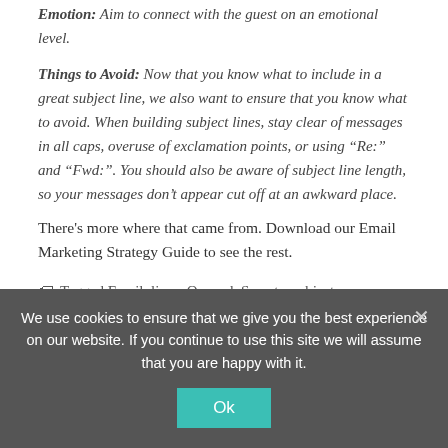Emotion: Aim to connect with the guest on an emotional level.
Things to Avoid: Now that you know what to include in a great subject line, we also want to ensure that you know what to avoid. When building subject lines, stay clear of messages in all caps, overuse of exclamation points, or using “Re:” and “Fwd:”. You should also be aware of subject line length, so your messages don’t appear cut off at an awkward place.
There's more where that came from. Download our Email Marketing Strategy Guide to see the rest.
🏷 Tagged Email, lines, Opened, Secrets, subject
We use cookies to ensure that we give you the best experience on our website. If you continue to use this site we will assume that you are happy with it.